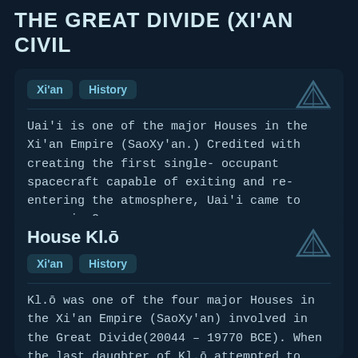THE GREAT DIVIDE (XI'AN CIVIL
Xi'an  History
Uai'i is one of the major Houses in the Xi'an Empire (SaoXy'an.) Credited with creating the first single-occupant spacecraft capable of exiting and re-entering the atmosphere, Uai'i came to power in 2...
# house uai'i   # the great divide   # xi'an house
House Kl.ō
Xi'an  History
Kl.ō was one of the four major Houses in the Xi'an Empire (SaoXy'an) involved in the Great Divide(20044 – 19770 BCE). When the last daughter of Kl.ō attempted to defect to House